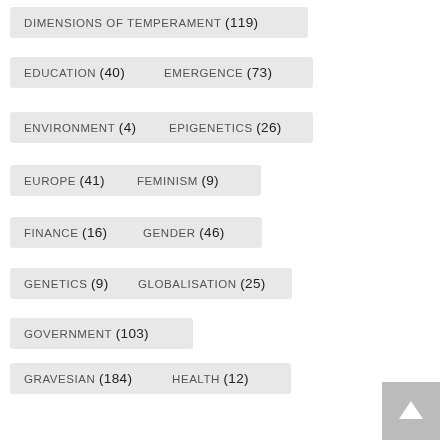DIMENSIONS OF TEMPERAMENT (119)
EDUCATION (40)
EMERGENCE (73)
ENVIRONMENT (4)
EPIGENETICS (26)
EUROPE (41)
FEMINISM (9)
FINANCE (16)
GENDER (46)
GENETICS (9)
GLOBALISATION (25)
GOVERNMENT (103)
GRAVESIAN (184)
HEALTH (12)
HEROES AND INSPIRATIONAL FIGURES (36)
HIERARCHY OF NEEDS (76)
HUMAN RIGHTS (32)
INTEGRATED SOCIOPSYCHOLOGY (100)